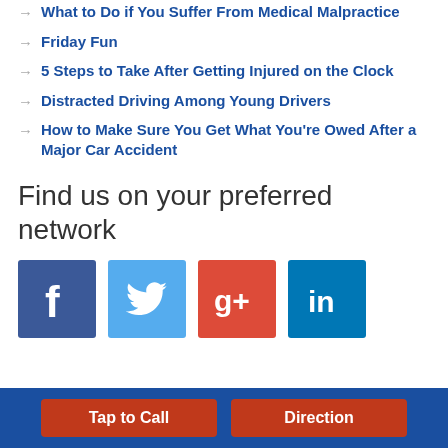What to Do if You Suffer From Medical Malpractice
Friday Fun
5 Steps to Take After Getting Injured on the Clock
Distracted Driving Among Young Drivers
How to Make Sure You Get What You're Owed After a Major Car Accident
Find us on your preferred network
[Figure (logo): Facebook icon - blue square with white f logo]
[Figure (logo): Twitter icon - blue square with white bird logo]
[Figure (logo): Google Plus icon - red square with white g+ logo]
[Figure (logo): LinkedIn icon - teal blue square with white in logo]
Tap to Call | Direction